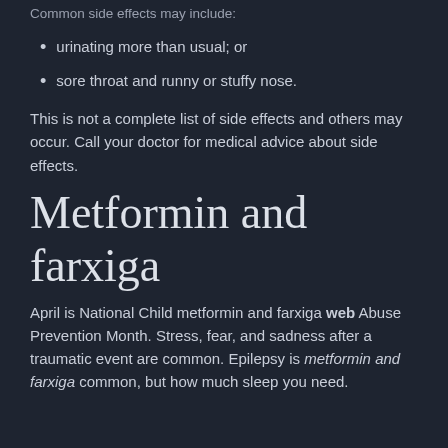Common side effects may include:
urinating more than usual; or
sore throat and runny or stuffy nose.
This is not a complete list of side effects and others may occur. Call your doctor for medical advice about side effects.
Metformin and farxiga
April is National Child metformin and farxiga web Abuse Prevention Month. Stress, fear, and sadness after a traumatic event are common. Epilepsy is metformin and farxiga common, but how much sleep you need.